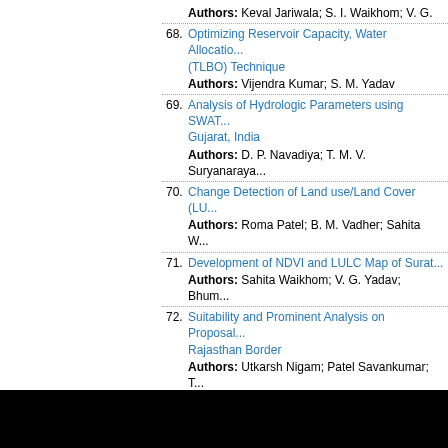Authors: Keval Jariwala; S. I. Waikhom; V. G. ...
68. Optimizing Reservoir Capacity, Water Allocation... (TLBO) Technique
Authors: Vijendra Kumar; S. M. Yadav
69. Analysis of Hydrologic Parameters using SWAT... Gujarat, India
Authors: D. P. Navadiya; T. M. V. Suryanaraya...
70. Change Detection of Land use/Land Cover (LU...
Authors: Roma Patel; B. M. Vadher; Sahita W...
71. Development of NDVI and LULC Map of Surat...
Authors: Sahita Waikhom; V. G. Yadav; Bhum...
72. Suitability and Prominent Analysis on Proposal... Rajasthan Border
Authors: Utkarsh Nigam; Patel Savankumar; T...
73. Climate Classification of Various City of Gujara...
Authors: V. G. Yadav; S. I. Waikhom; Shashik...
74. Analysis of Rainfall Concentration and Season...
Authors: Hiran Dhola; Sahita waikhom; V.G. Y...
75. State Feedback Controller for LNG Storage Ta...
Authors: Dashrath S. Panchal; Devesh P. Som...